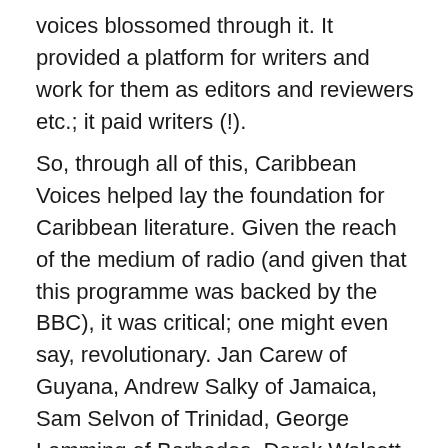voices blossomed through it. It provided a platform for writers and work for them as editors and reviewers etc.; it paid writers (!).
So, through all of this, Caribbean Voices helped lay the foundation for Caribbean literature. Given the reach of the medium of radio (and given that this programme was backed by the BBC), it was critical; one might even say, revolutionary. Jan Carew of Guyana, Andrew Salky of Jamaica, Sam Selvon of Trinidad, George Lamming of Barbados, Derek Walcott of St. Lucia are just some of the early writers – now known as the foundation (and legends) of the Caribbean literary canon – to have come through this programme. To quote the BBC retrospective that inspired this post, “They felt encouraged to keep on writing…they were writers of the Caribbean.” They are to be considered to be the pioneers of Caribbean